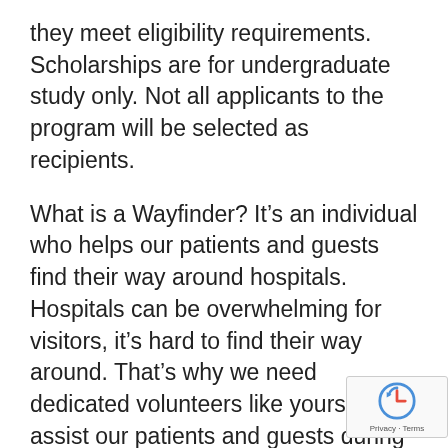they meet eligibility requirements. Scholarships are for undergraduate study only. Not all applicants to the program will be selected as recipients.
What is a Wayfinder? It’s an individual who helps our patients and guests find their way around hospitals. Hospitals can be overwhelming for visitors, it’s hard to find their way around. That’s why we need dedicated volunteers like yourself to assist our patients and guests during this time.
Do I have to meet any requirements to become part of the Wayfinder program? You’ll need go through the initial volunteer on-boarding